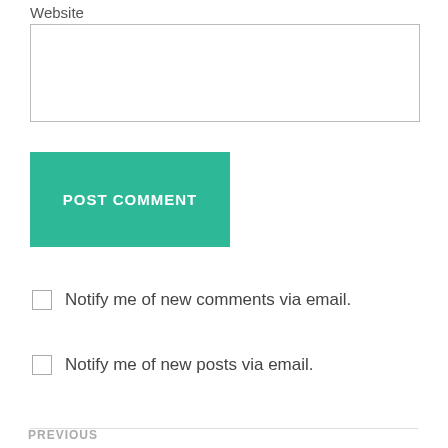Website
POST COMMENT
Notify me of new comments via email.
Notify me of new posts via email.
PREVIOUS
Prompted by a Question of Soul...